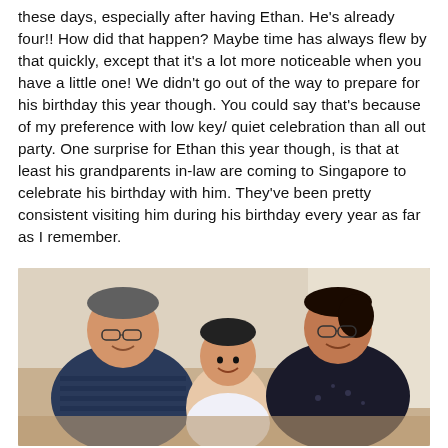these days, especially after having Ethan. He's already four!! How did that happen? Maybe time has always flew by that quickly, except that it's a lot more noticeable when you have a little one! We didn't go out of the way to prepare for his birthday this year though. You could say that's because of my preference with low key/ quiet celebration than all out party. One surprise for Ethan this year though, is that at least his grandparents in-law are coming to Singapore to celebrate his birthday with him. They've been pretty consistent visiting him during his birthday every year as far as I remember.
[Figure (photo): A family photo showing three people sitting together on a sofa: an older man on the left wearing a striped polo shirt and glasses, smiling; a young child (Ethan) in the middle wearing patterned pajamas, smiling; and an older woman on the right wearing a dark floral blouse and glasses, smiling. The background shows an indoor setting.]